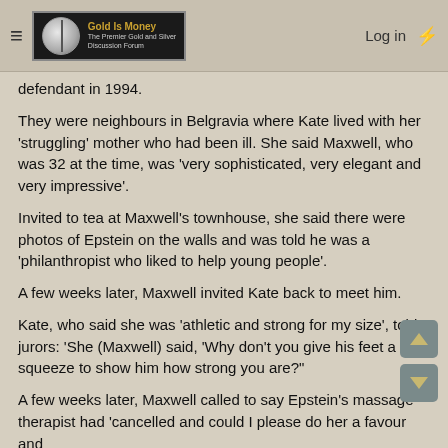Gold Is Money - The Premier Gold and Silver Discussion Forum | Log in
defendant in 1994.
They were neighbours in Belgravia where Kate lived with her 'struggling' mother who had been ill. She said Maxwell, who was 32 at the time, was 'very sophisticated, very elegant and very impressive'.
Invited to tea at Maxwell's townhouse, she said there were photos of Epstein on the walls and was told he was a 'philanthropist who liked to help young people'.
A few weeks later, Maxwell invited Kate back to meet him.
Kate, who said she was 'athletic and strong for my size', told jurors: 'She (Maxwell) said, 'Why don't you give his feet a little squeeze to show him how strong you are?"
A few weeks later, Maxwell called to say Epstein's massage therapist had 'cancelled and could I please do her a favour and